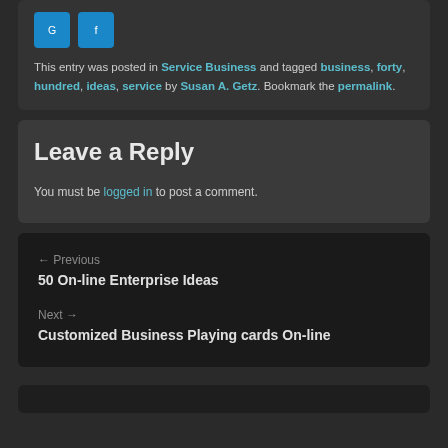[Figure (other): Social sharing buttons - circular blue button and Facebook button]
This entry was posted in Service Business and tagged business, forty, hundred, ideas, service by Susan A. Getz. Bookmark the permalink.
Leave a Reply
You must be logged in to post a comment.
← Previous
50 On-line Enterprise Ideas
Next →
Customized Business Playing cards On-line